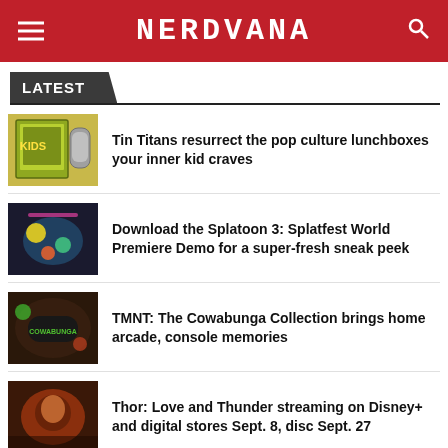NERDVANA
LATEST
Tin Titans resurrect the pop culture lunchboxes your inner kid craves
Download the Splatoon 3: Splatfest World Premiere Demo for a super-fresh sneak peek
TMNT: The Cowabunga Collection brings home arcade, console memories
Thor: Love and Thunder streaming on Disney+ and digital stores Sept. 8, disc Sept. 27
Watch a first clip from the Andor series